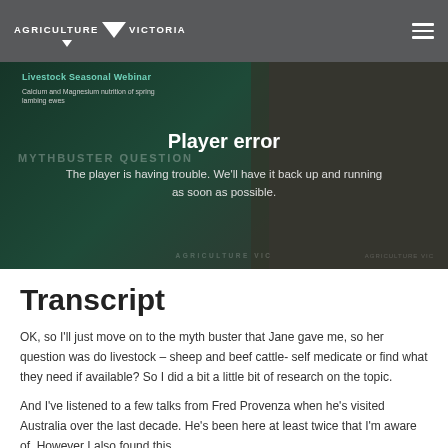AGRICULTURE VICTORIA
[Figure (screenshot): Video player showing Agriculture Victoria Livestock Seasonal Webinar on Calcium and Magnesium nutrition of spring lambing ewes. The player is showing an error message: 'Player error — The player is having trouble. We'll have it back up and running as soon as possible.' Background shows a sheep in a paddock with green overlay and MYTHBUSTER QUESTION text visible.]
Transcript
OK, so I'll just move on to the myth buster that Jane gave me, so her question was do livestock – sheep and beef cattle- self medicate or find what they need if available? So I did a bit a little bit of research on the topic.
And I've listened to a few talks from Fred Provenza when he's visited Australia over the last decade. He's been here at least twice that I'm aware of. However I also found this